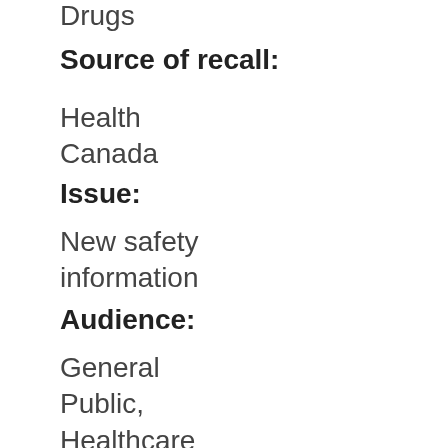Drugs
Source of recall:
Health Canada
Issue:
New safety information
Audience:
General Public, Healthcare Professionals
Identification number:
RA-37933